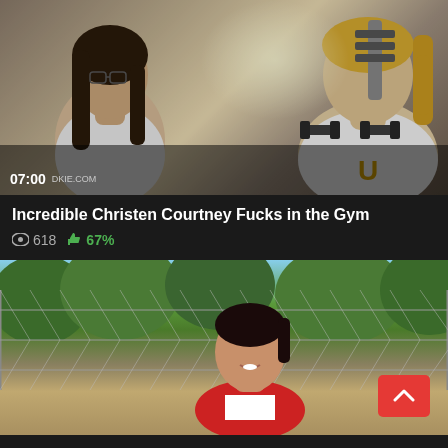[Figure (photo): Video thumbnail showing two women in a gym setting facing each other, one with dark hair wearing a white top, one with blonde hair in a ponytail wearing a white t-shirt. Gym equipment visible in background. Timestamp '07:00' and 'DKIE.COM' overlay at bottom left.]
Incredible Christen Courtney Fucks in the Gym
618  67%
[Figure (photo): Video thumbnail showing a young woman with dark hair in a red and white sports uniform, outdoors near a chain-link fence with trees in background. A red scroll-to-top button with an up arrow is visible in the bottom right corner.]